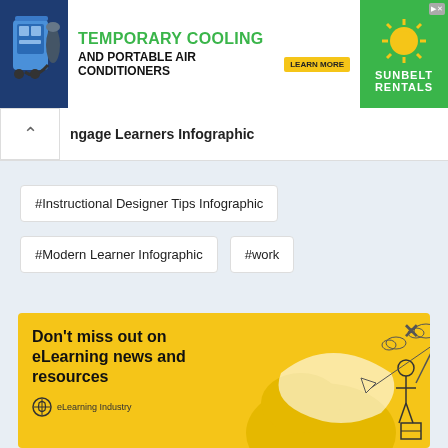[Figure (infographic): Sunbelt Rentals advertisement banner: Temporary Cooling and Portable Air Conditioners with Learn More button and Sunbelt Rentals logo]
ngage Learners Infographic
#Instructional Designer Tips Infographic
#Modern Learner Infographic
#work
[Figure (screenshot): Partial card showing Posted on December 10, 2017 and partial text at bottom]
[Figure (infographic): Yellow popup overlay: Don't miss out on eLearning news and resources - eLearning Industry branding with illustration of person fishing with a paper plane]